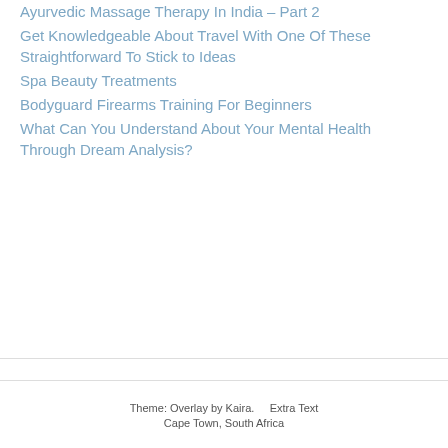Ayurvedic Massage Therapy In India – Part 2
Get Knowledgeable About Travel With One Of These Straightforward To Stick to Ideas
Spa Beauty Treatments
Bodyguard Firearms Training For Beginners
What Can You Understand About Your Mental Health Through Dream Analysis?
Theme: Overlay by Kaira.     Extra Text
Cape Town, South Africa